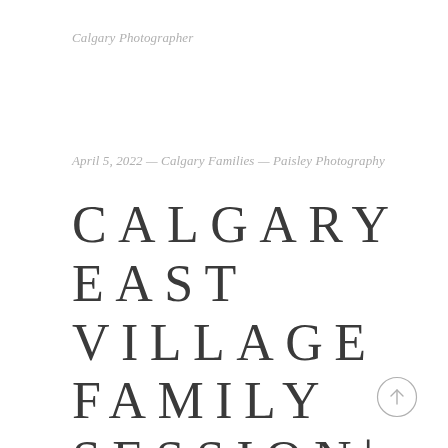Calgary Photographer
April 5, 2022 — Calgary Families — Paisley Photography
CALGARY EAST VILLAGE FAMILY SESSION| CALGARY